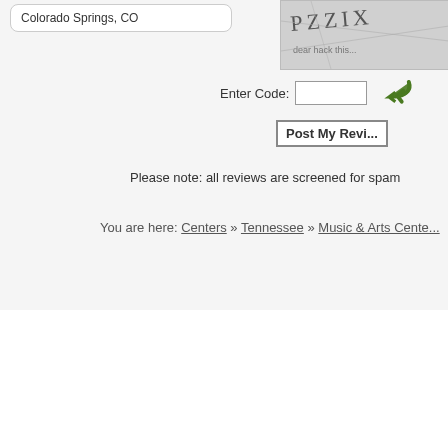Colorado Springs, CO
Enter Code:
Post My Revi...
Please note: all reviews are screened for spam
You are here: Centers » Tennessee » Music & Arts Cente...
Piano Lessons | Guitar Lessons | Violin Lessons | Drum Lessons | Vocal L... | Music and Instrument Lessons | Add Your Business (FREE) | Contact us | Instrume...
All information for archive purposes only.
Instrument Lessons .org does not guarantee the accuracy or timeliness of any information on this site.
Use at your own risk.